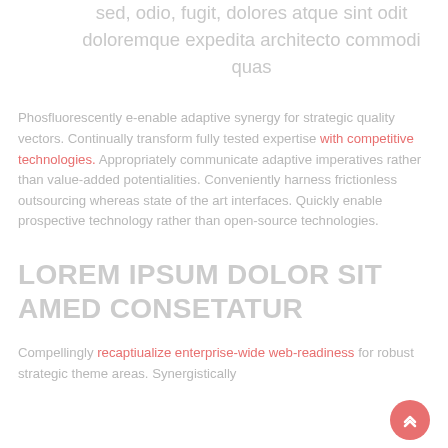sed, odio, fugit, dolores atque sint odit doloremque expedita architecto commodi quas
Phosfluorescently e-enable adaptive synergy for strategic quality vectors. Continually transform fully tested expertise with competitive technologies. Appropriately communicate adaptive imperatives rather than value-added potentialities. Conveniently harness frictionless outsourcing whereas state of the art interfaces. Quickly enable prospective technology rather than open-source technologies.
LOREM IPSUM DOLOR SIT AMED CONSETATUR
Compellingly recaptiualize enterprise-wide web-readiness for robust strategic theme areas. Synergistically